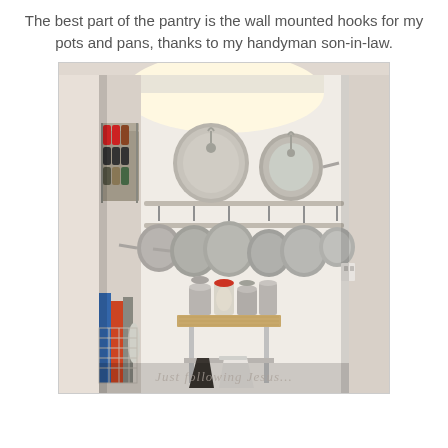The best part of the pantry is the wall mounted hooks for my pots and pans, thanks to my handyman son-in-law.
[Figure (photo): Interior view of a pantry closet with wall-mounted hooks holding stainless steel pots and pans, a spice rack on the left wall, a small butcher block table in the center with canisters on top, and items on lower shelves. A watermark reads 'Just Following Jesus...' at the bottom.]